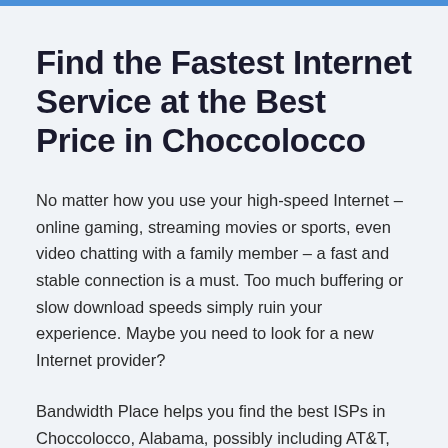Find the Fastest Internet Service at the Best Price in Choccolocco
No matter how you use your high-speed Internet – online gaming, streaming movies or sports, even video chatting with a family member – a fast and stable connection is a must. Too much buffering or slow download speeds simply ruin your experience. Maybe you need to look for a new Internet provider?
Bandwidth Place helps you find the best ISPs in Choccolocco, Alabama, possibly including AT&T, Frontier, Verizon, Charter Spectrum, and more. We also test your Internet speed to ensure you get the bandwidth you paid